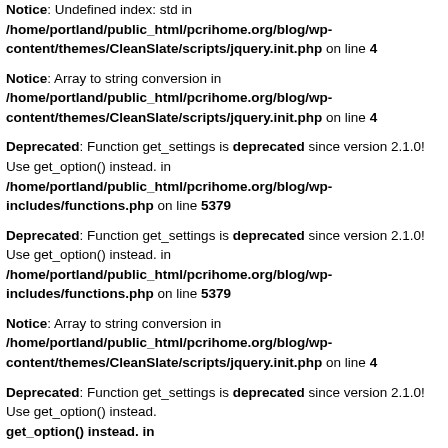Notice: Undefined index: std in /home/portland/public_html/pcrihome.org/blog/wp-content/themes/CleanSlate/scripts/jquery.init.php on line 4
Notice: Array to string conversion in /home/portland/public_html/pcrihome.org/blog/wp-content/themes/CleanSlate/scripts/jquery.init.php on line 4
Deprecated: Function get_settings is deprecated since version 2.1.0! Use get_option() instead. in /home/portland/public_html/pcrihome.org/blog/wp-includes/functions.php on line 5379
Deprecated: Function get_settings is deprecated since version 2.1.0! Use get_option() instead. in /home/portland/public_html/pcrihome.org/blog/wp-includes/functions.php on line 5379
Notice: Array to string conversion in /home/portland/public_html/pcrihome.org/blog/wp-content/themes/CleanSlate/scripts/jquery.init.php on line 4
Deprecated: Function get_settings is deprecated since version 2.1.0! Use get_option() instead. in